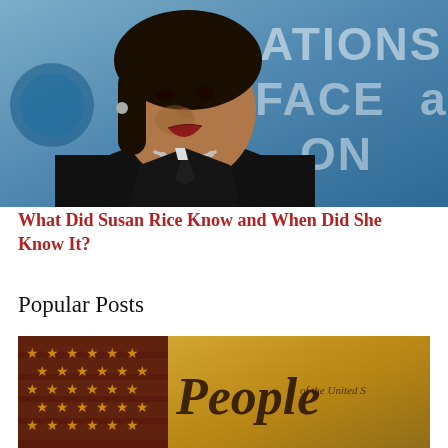[Figure (photo): Photo of Susan Rice speaking, with blue background showing partial text 'NATIONS' and 'FACE' visible]
What Did Susan Rice Know and When Did She Know It?
Popular Posts
[Figure (photo): Photo of an American flag with the Constitution document showing the word 'People' in cursive script]